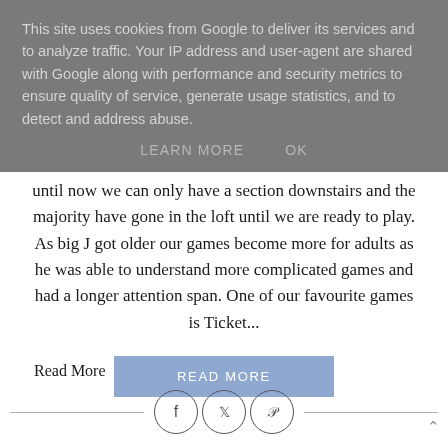This site uses cookies from Google to deliver its services and to analyze traffic. Your IP address and user-agent are shared with Google along with performance and security metrics to ensure quality of service, generate usage statistics, and to detect and address abuse.
LEARN MORE   OK
until now we can only have a section downstairs and the majority have gone in the loft until we are ready to play. As big J got older our games become more for adults as he was able to understand more complicated games and had a longer attention span. One of our favourite games is Ticket...
READ MORE
Read More
[Figure (infographic): Social sharing bar with horizontal lines on left and right and three circular icon buttons for Facebook, Twitter, and Pinterest]